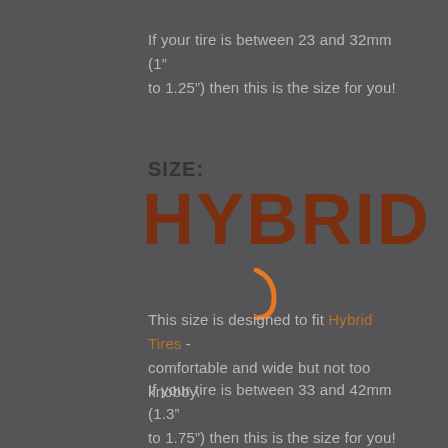If your tire is between 23 and 32mm (1" to 1.25") then this is the size for you!
SIZE:
HYBRID
[Figure (illustration): Orange curved hook/tick symbol beneath the HYBRID text]
This size is designed to fit Hybrid Tires - comfortable and wide but not too knobby.
If your tire is between 33 and 42mm (1.3" to 1.75") then this is the size for you!